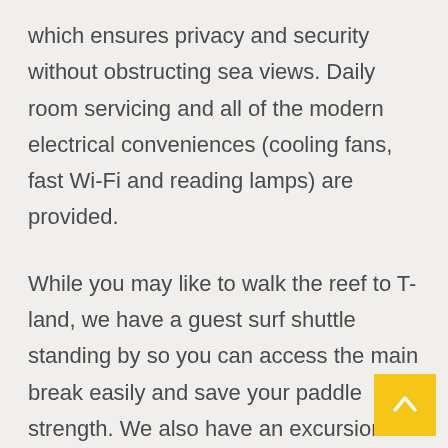which ensures privacy and security without obstructing sea views. Daily room servicing and all of the modern electrical conveniences (cooling fans, fast Wi-Fi and reading lamps) are provided.
While you may like to walk the reef to T-land, we have a guest surf shuttle standing by so you can access the main break easily and save your paddle strength. We also have an excursion skiff complete to get you comfortably to the other breaks on Rote and nearby islands. To complete the set, our host camp also owns a 34-foot Catamaran and regularly takes guests out for blissful sunset sails following a full day catching waves. Our boat captain is a life-time fisherman